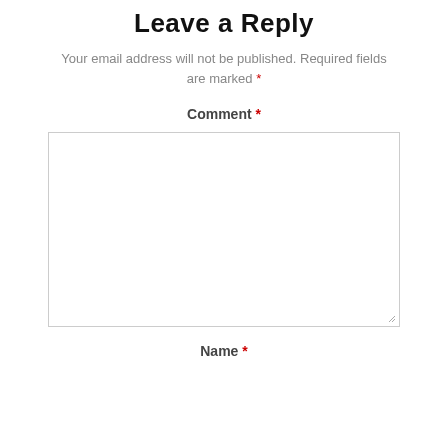Leave a Reply
Your email address will not be published. Required fields are marked *
Comment *
[Figure (screenshot): Empty comment textarea input box with resize handle in bottom right corner]
Name *